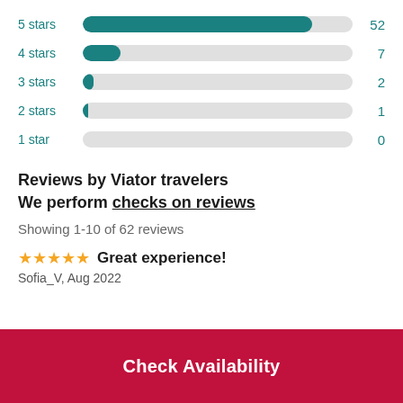[Figure (bar-chart): Star rating distribution]
Reviews by Viator travelers
We perform checks on reviews
Showing 1-10 of 62 reviews
Great experience!
Sofia_V, Aug 2022
Check Availability